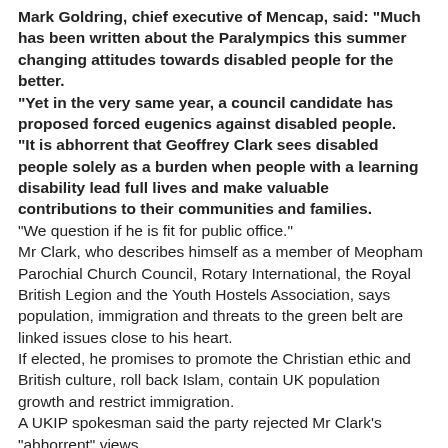Mark Goldring, chief executive of Mencap, said: "Much has been written about the Paralympics this summer changing attitudes towards disabled people for the better. "Yet in the very same year, a council candidate has proposed forced eugenics against disabled people. "It is abhorrent that Geoffrey Clark sees disabled people solely as a burden when people with a learning disability lead full lives and make valuable contributions to their communities and families. "We question if he is fit for public office." Mr Clark, who describes himself as a member of Meopham Parochial Church Council, Rotary International, the Royal British Legion and the Youth Hostels Association, says population, immigration and threats to the green belt are linked issues close to his heart. If elected, he promises to promote the Christian ethic and British culture, roll back Islam, contain UK population growth and restrict immigration. A UKIP spokesman said the party rejected Mr Clark's "abhorrent" views. "The party was not aware of those views when it allowed him